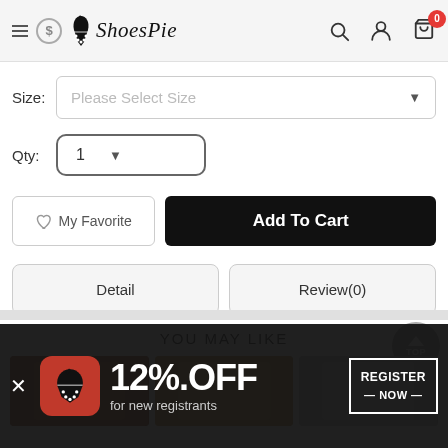ShoesPie
Size: Please Select Size
Qty: 1
My Favorite
Add To Cart
Detail
Review(0)
YOU MAY LIKE
[Figure (screenshot): Three product thumbnail images of shoes]
12%.OFF for new registrants REGISTER NOW